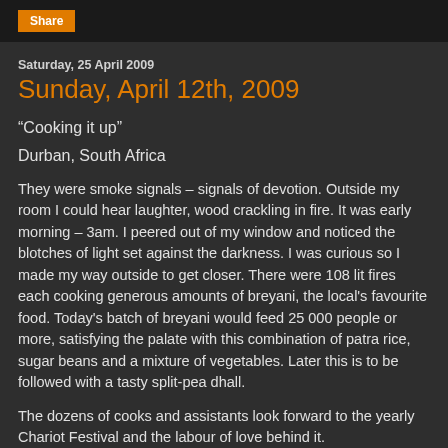Share
Saturday, 25 April 2009
Sunday, April 12th, 2009
“Cooking it up”
Durban, South Africa
They were smoke signals – signals of devotion. Outside my room I could hear laughter, wood crackling in fire. It was early morning – 3am. I peered out of my window and noticed the blotches of light set against the darkness. I was curious so I made my way outside to get closer. There were 108 lit fires each cooking generous amounts of breyani, the local's favourite food. Today's batch of breyani would feed 25 000 people or more, satisfying the palate with this combination of patra rice, sugar beans and a mixture of vegetables. Later this is to be followed with a tasty split-pea dhall.
The dozens of cooks and assistants look forward to the yearly Chariot Festival and the labour of love behind it.